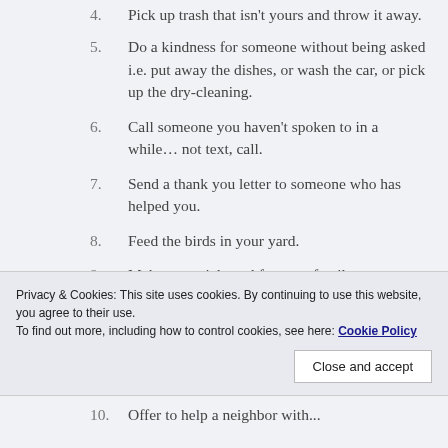4. Pick up trash that isn't yours and throw it away.
5. Do a kindness for someone without being asked i.e. put away the dishes, or wash the car, or pick up the dry-cleaning.
6. Call someone you haven't spoken to in a while… not text, call.
7. Send a thank you letter to someone who has helped you.
8. Feed the birds in your yard.
9. Make a special meal for your family.
Privacy & Cookies: This site uses cookies. By continuing to use this website, you agree to their use. To find out more, including how to control cookies, see here: Cookie Policy
Close and accept
10. Offer to help a neighbor with...